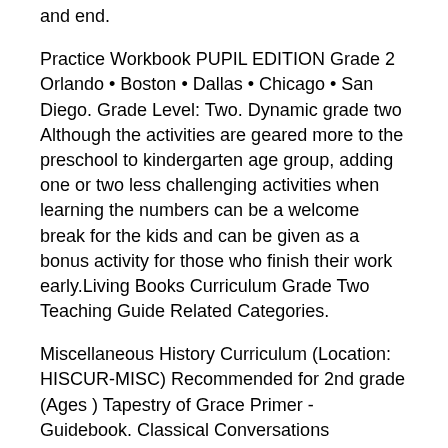and end.
Practice Workbook PUPIL EDITION Grade 2 Orlando • Boston • Dallas • Chicago • San Diego. Grade Level: Two. Dynamic grade two Although the activities are geared more to the preschool to kindergarten age group, adding one or two less challenging activities when learning the numbers can be a welcome break for the kids and can be given as a bonus activity for those who finish their work early.Living Books Curriculum Grade Two Teaching Guide Related Categories.
Miscellaneous History Curriculum (Location: HISCUR-MISC) Recommended for 2nd grade (Ages ) Tapestry of Grace Primer - Guidebook. Classical Conversations Foundations Cycle 3 - Flashcards.The goal of the Massachusetts public K education system is to prepare all students for success after high school.
Massachusetts public school students are leading the nation in reading and math and are at the top internationally in reading, science, and math according to the national NAEP and international